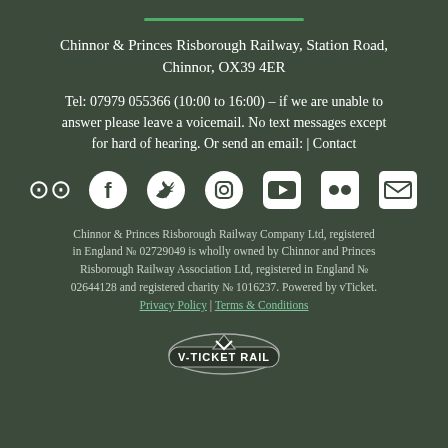Chinnor & Princes Risborough Railway, Station Road, Chinnor, OX39 4ER
Tel: 07979 055366 (10:00 to 16:00) – if we are unable to answer please leave a voicemail. No text messages except for hard of hearing. Or send an email: | Contact
[Figure (infographic): Row of 7 social media icons: TripAdvisor, Facebook, Twitter, Instagram, YouTube, Flickr, Email (envelope)]
Chinnor & Princes Risborough Railway Company Ltd, registered in England № 02729049 is wholly owned by Chinnor and Princes Risborough Railway Association Ltd, registered in England № 02644128 and registered charity № 1016237. Powered by vTicket. Privacy Policy | Terms & Conditions
[Figure (logo): V-Ticket Rail logo — shield shape with text V-TICKET RAIL and a V chevron symbol]